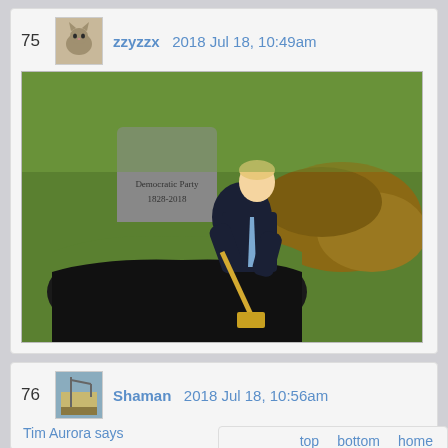75   zzyzzx   2018 Jul 18, 10:49am
[Figure (photo): Photoshopped image of a man in a dark suit digging a grave with a golden shovel next to a gravestone reading 'Democratic Party 1828-2018', on a green lawn with a pile of dirt.]
76   Shaman   2018 Jul 18, 10:56am
Tim Aurora says
top   bottom   home